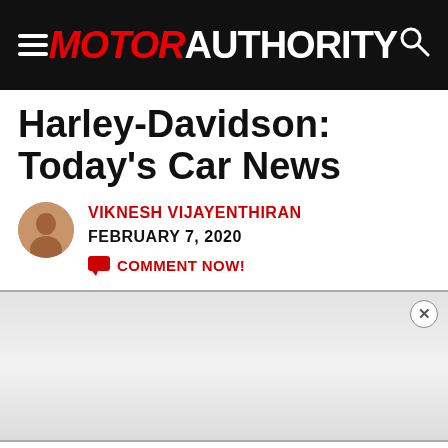MOTOR AUTHORITY
Harley-Davidson: Today's Car News
VIKNESH VIJAYENTHIRAN
FEBRUARY 7, 2020
COMMENT NOW!
T
[Figure (other): Advertisement overlay with close button (x)]